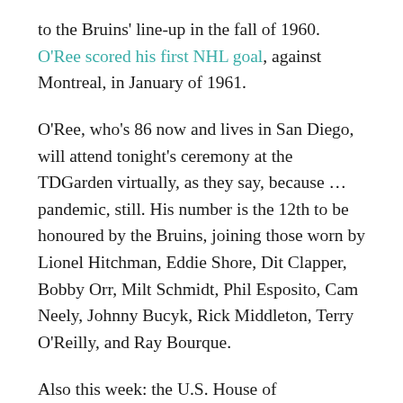to the Bruins' line-up in the fall of 1960. O'Ree scored his first NHL goal, against Montreal, in January of 1961.
O'Ree, who's 86 now and lives in San Diego, will attend tonight's ceremony at the TDGarden virtually, as they say, because … pandemic, still. His number is the 12th to be honoured by the Bruins, joining those worn by Lionel Hitchman, Eddie Shore, Dit Clapper, Bobby Orr, Milt Schmidt, Phil Esposito, Cam Neely, Johnny Bucyk, Rick Middleton, Terry O'Reilly, and Ray Bourque.
Also this week: the U.S. House of Representatives has a bill ready to be voted that will award O'Ree the Congressional Gold Medal, the highest U.S. civilian honour. Once it's passed by the House, the Willie O'Ree Congressional Gold Medal Act will make its way to the White House for President Joe Biden to sign.